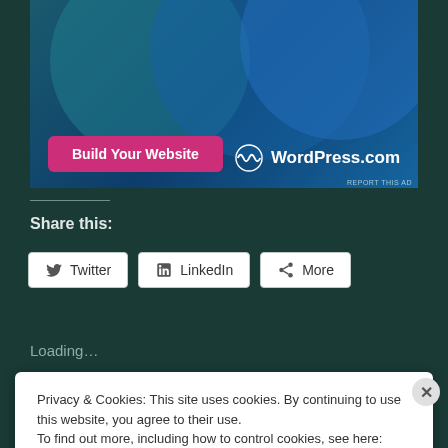[Figure (screenshot): WordPress.com advertisement banner with teal/blue gradient background, overlapping circles, a pink 'Build Your Website' button on the left, and WordPress.com logo and text on the right. 'REPORT THIS AD' text at bottom right.]
Share this:
Twitter
LinkedIn
More
Loading...
Privacy & Cookies: This site uses cookies. By continuing to use this website, you agree to their use.
To find out more, including how to control cookies, see here: Cookie Policy
Close and accept